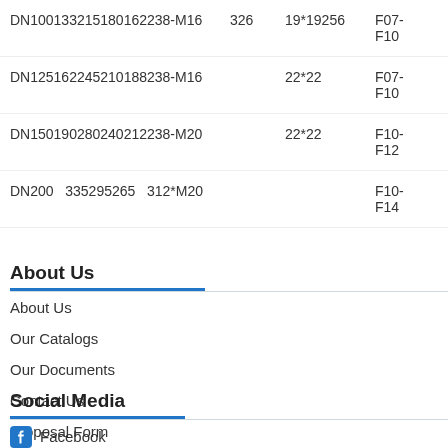| Model |  | Size | Grade |  |
| --- | --- | --- | --- | --- |
| DN100133215180162238-M16 | 326 | 19*19256 | F07-F10 | 133 |
| DN125162245210188238-M16 |  | 22*22 | F07-F10 | 277 |
| DN150190280240212238-M20 |  | 22*22 | F10-F12 | 435 |
| DN200  335295265  312*M20 |  |  | F10-F14 | 1.0 |
About Us
About Us
Our Catalogs
Our Documents
Contact Us
Proposal Form
Social Media